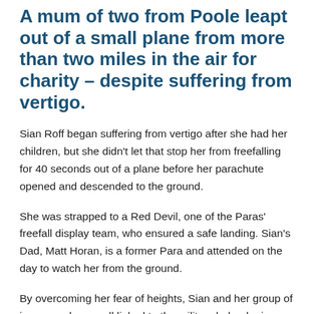A mum of two from Poole leapt out of a small plane from more than two miles in the air for charity – despite suffering from vertigo.
Sian Roff began suffering from vertigo after she had her children, but she didn't let that stop her from freefalling for 40 seconds out of a plane before her parachute opened and descended to the ground.
She was strapped to a Red Devil, one of the Paras' freefall display team, who ensured a safe landing. Sian's Dad, Matt Horan, is a former Para and attended on the day to watch her from the ground.
By overcoming her fear of heights, Sian and her group of jumpers who are all linked to the military helped raise more than £2,500 for the SBS Association, a charity that assists veterans from the